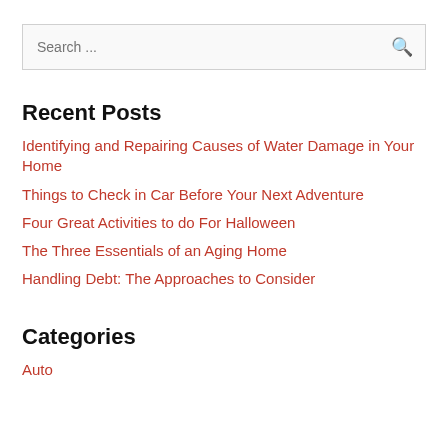[Figure (screenshot): Search bar with placeholder text 'Search ...' and a search icon on the right]
Recent Posts
Identifying and Repairing Causes of Water Damage in Your Home
Things to Check in Car Before Your Next Adventure
Four Great Activities to do For Halloween
The Three Essentials of an Aging Home
Handling Debt: The Approaches to Consider
Categories
Auto